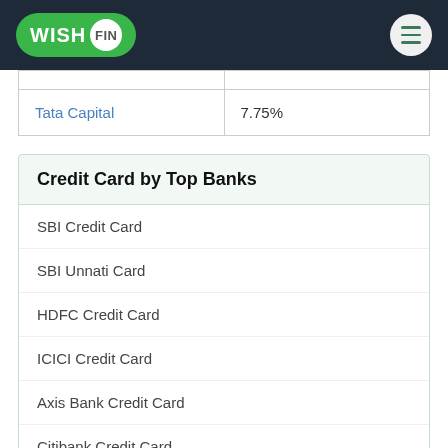WISH FIN
|  |  |
| --- | --- |
| Tata Capital | 7.75% |
Credit Card by Top Banks
SBI Credit Card
SBI Unnati Card
HDFC Credit Card
ICICI Credit Card
Axis Bank Credit Card
Citibank Credit Card
YES Bank Credit Card
Bank of Baroda Credit Card